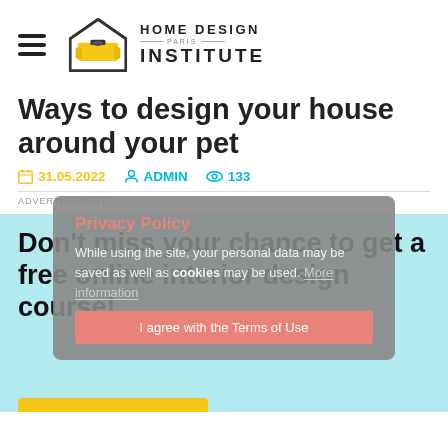[Figure (logo): Home Design Institute Paris logo with hamburger menu icon]
Ways to design your house around your pet
31.05.2022   ADMIN   133
ADVERTISEMENT
Privacy Policy
While using the site, your personal data may be saved as well as cookies may be used. More information
I agree with the Terms of Use
Don't miss your chance to get a free online interior design course!